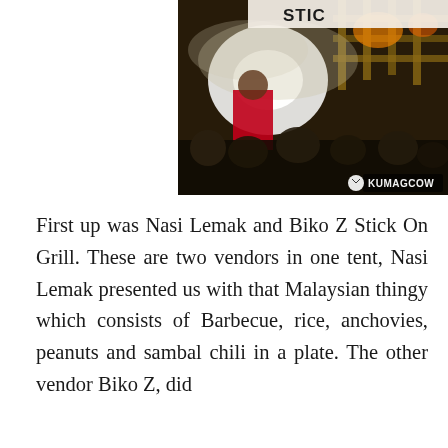[Figure (photo): Night market or food festival scene with bright lights, smoke, and a crowd of people. A banner reading 'STICK ON GRILL' is visible at the top. A 'KUMAGCOW' watermark appears in the bottom right corner.]
First up was Nasi Lemak and Biko Z Stick On Grill. These are two vendors in one tent, Nasi Lemak presented us with that Malaysian thingy which consists of Barbecue, rice, anchovies, peanuts and sambal chili in a plate. The other vendor Biko Z, did